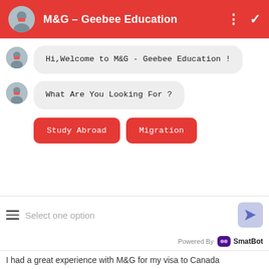[Figure (screenshot): Chat widget header with red background showing avatar, title M&G - Geebee Education, and menu icons]
M&G – Geebee Education
Hi,Welcome to M&G - Geebee Education !
What Are You Looking For ?
Study Abroad
Migration
Select one option
Powered By  SmatBot
I had a great experience with M&G for my visa to Canada